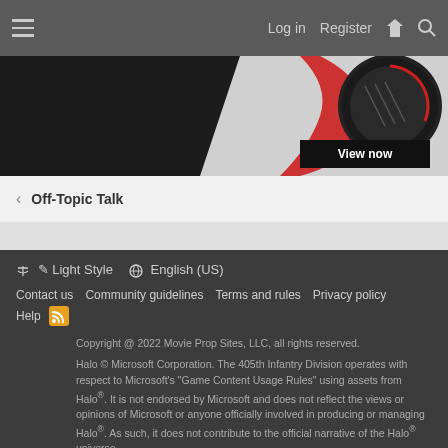≡  Log in  Register  ⚡  🔍
[Figure (photo): Partial banner image showing a red/black design element and a dark circular device, with a 'View now' button]
< Off-Topic Talk
✏ Light Style  🌐 English (US)
Contact us   Community guidelines   Terms and rules   Privacy policy
Help  [RSS]
Copyright @ 2022 Movie Prop Sites, LLC, all rights reserved.
Halo © Microsoft Corporation. The 405th Infantry Division operates with respect to Microsoft's "Game Content Usage Rules" using assets from Halo®. It is not endorsed by Microsoft and does not reflect the views or opinions of Microsoft or anyone officially involved in producing or managing Halo®. As such, it does not contribute to the official narrative of the Halo® universe.